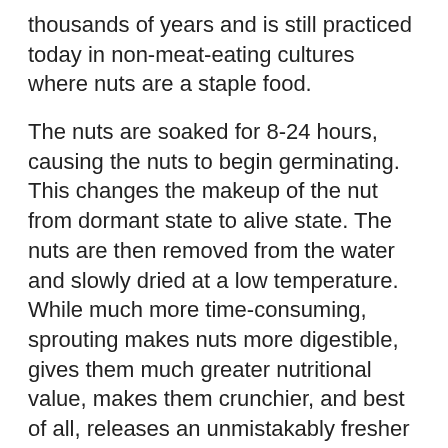thousands of years and is still practiced today in non-meat-eating cultures where nuts are a staple food.
The nuts are soaked for 8-24 hours, causing the nuts to begin germinating. This changes the makeup of the nut from dormant state to alive state. The nuts are then removed from the water and slowly dried at a low temperature. While much more time-consuming, sprouting makes nuts more digestible, gives them much greater nutritional value, makes them crunchier, and best of all, releases an unmistakably fresher flavor. If seasoning is desired, spray with liquid aminos and sprinkle on Spike Seasoning (dried veggies).